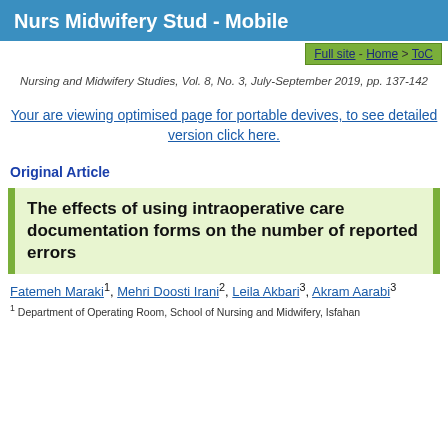Nurs Midwifery Stud - Mobile
Full site - Home > ToC
Nursing and Midwifery Studies, Vol. 8, No. 3, July-September 2019, pp. 137-142
Your are viewing optimised page for portable devives, to see detailed version click here.
Original Article
The effects of using intraoperative care documentation forms on the number of reported errors
Fatemeh Maraki1, Mehri Doosti Irani2, Leila Akbari3, Akram Aarabi3
1 Department of Operating Room, School of Nursing and Midwifery, Isfahan